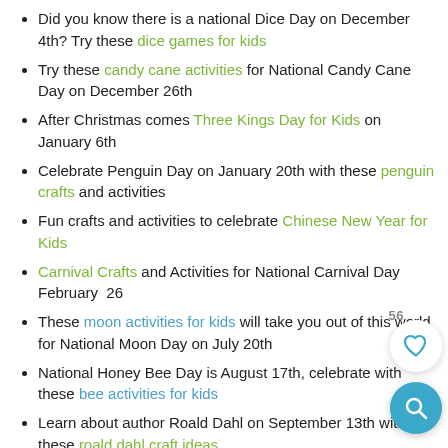Did you know there is a national Dice Day on December 4th? Try these dice games for kids
Try these candy cane activities for National Candy Cane Day on December 26th
After Christmas comes Three Kings Day for Kids on January 6th
Celebrate Penguin Day on January 20th with these penguin crafts and activities
Fun crafts and activities to celebrate Chinese New Year for Kids
Carnival Crafts and Activities for National Carnival Day February 26
These moon activities for kids will take you out of this world for National Moon Day on July 20th
National Honey Bee Day is August 17th, celebrate with these bee activities for kids
Learn about author Roald Dahl on September 13th with these roald dahl craft ideas
Enjoy National Chocolate Day in Octoboer with these chocolate activities
Become a super hero on Batman Day this septem...